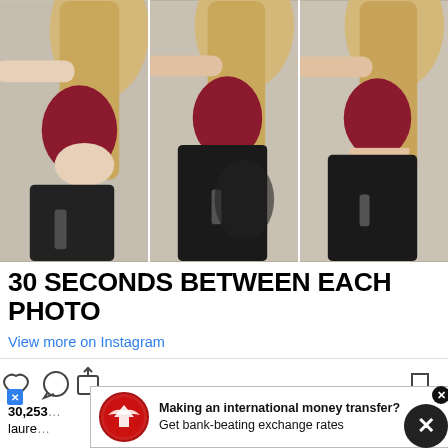[Figure (photo): Three side-profile photos of a blonde woman in a dark red sports bra and black high-waisted gym leggings, showing posture/body position changes taken 30 seconds apart]
30 SECONDS BETWEEN EACH PHOTO
View more on Instagram
[Figure (other): Instagram action icons: heart (like), speech bubble (comment), share arrow, and bookmark]
30,253
laure
[Figure (infographic): Advertisement banner: OFX eagle logo, text 'Making an international money transfer? Get bank-beating exchange rates']